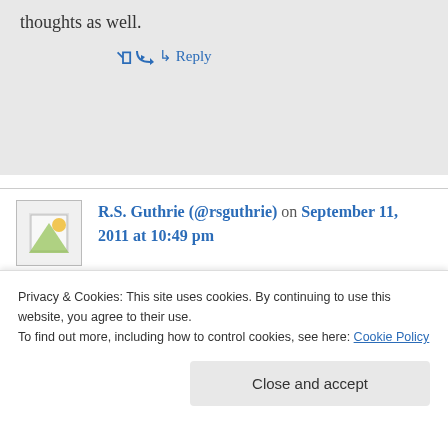thoughts as well.
↳ Reply
R.S. Guthrie (@rsguthrie) on September 11, 2011 at 10:49 pm
I, for one, am glad you wrote about your experience and shared it with us. Moments like those can help us realize who we really are, what we care about, and what we would do to
Privacy & Cookies: This site uses cookies. By continuing to use this website, you agree to their use.
To find out more, including how to control cookies, see here: Cookie Policy
Close and accept